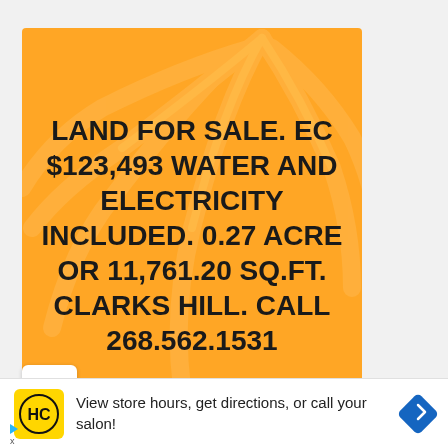[Figure (illustration): Orange card with palm leaf background and land sale listing text: LAND FOR SALE. EC $123,493 WATER AND ELECTRICITY INCLUDED. 0.27 ACRE OR 11,761.20 SQ.FT. CLARKS HILL. CALL 268.562.1531]
View store hours, get directions, or call your salon!